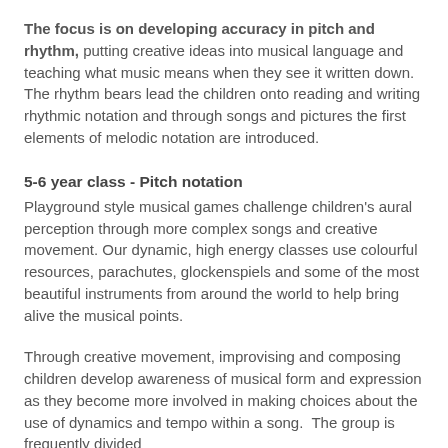The focus is on developing accuracy in pitch and rhythm, putting creative ideas into musical language and teaching what music means when they see it written down. The rhythm bears lead the children onto reading and writing rhythmic notation and through songs and pictures the first elements of melodic notation are introduced.
5-6 year class - Pitch notation
Playground style musical games challenge children's aural perception through more complex songs and creative movement. Our dynamic, high energy classes use colourful resources, parachutes, glockenspiels and some of the most beautiful instruments from around the world to help bring alive the musical points.
Through creative movement, improvising and composing children develop awareness of musical form and expression as they become more involved in making choices about the use of dynamics and tempo within a song.  The group is frequently divided